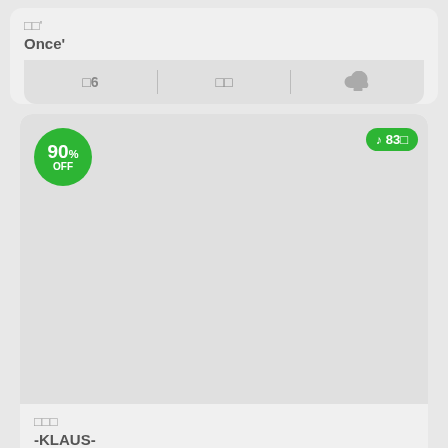□□'
Once'
□6  □□  [cloud]
[Figure (screenshot): Product card with 90% OFF badge and green count badge showing 83□, large grey image placeholder]
□□□
-KLAUS-
□5  □□  [cloud]